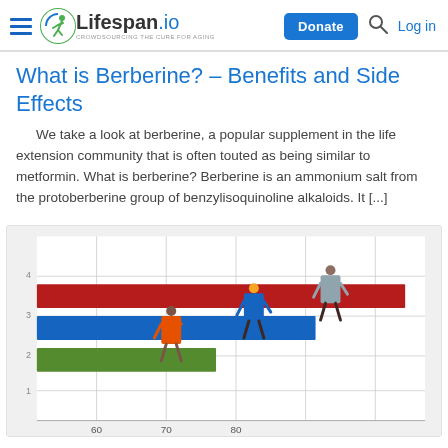Lifespan.io — Crowdsourcing the Cure for Aging
What is Berberine? – Benefits and Side Effects
We take a look at berberine, a popular supplement in the life extension community that is often touted as being similar to metformin. What is berberine? Berberine is an ammonium salt from the protoberberine group of benzylisoquinoline alkaloids. It [...]
[Figure (photo): Miniature figurines of three people standing on a horizontal bar chart with red, blue, and green bars. Numbers 60, 70, 80 visible on the x-axis.]